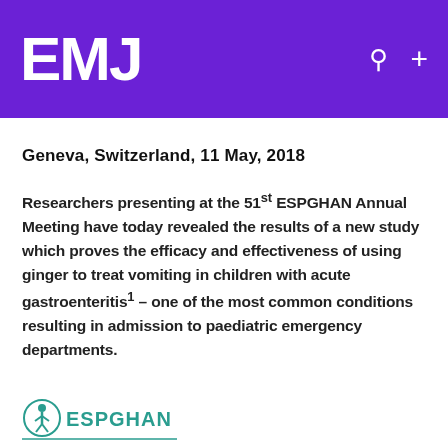EMJ
Geneva, Switzerland, 11 May, 2018
Researchers presenting at the 51st ESPGHAN Annual Meeting have today revealed the results of a new study which proves the efficacy and effectiveness of using ginger to treat vomiting in children with acute gastroenteritis1 – one of the most common conditions resulting in admission to paediatric emergency departments.
[Figure (logo): ESPGHAN logo with teal icon and text]